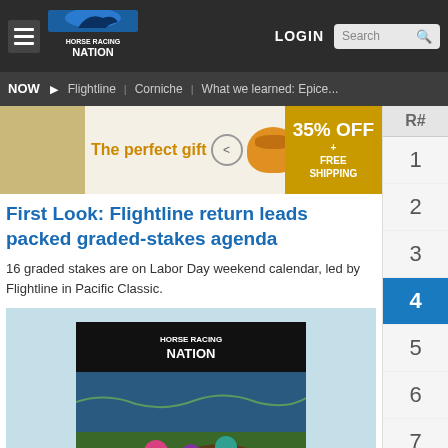Horse Racing Nation — LOGIN | Search
NOW | Flightline | Corniche | What we learned: Epice...
[Figure (photo): Advertisement banner: 'The perfect gift' with bowl image and 35% OFF + FREE SHIPPING promo]
First Look: Flightline return leads packed graded-stakes agenda
16 graded stakes are on Labor Day weekend calendar, led by Flightline in Pacific Classic.
[Figure (photo): Horse Racing Nation Power Picks card: 'POWER PICKS EVERY TRACK. EVERY DAY.' with horse racing photo]
R# sidebar numbers: 1, 2, 3, 4 (active), 5, 6, 7, 8